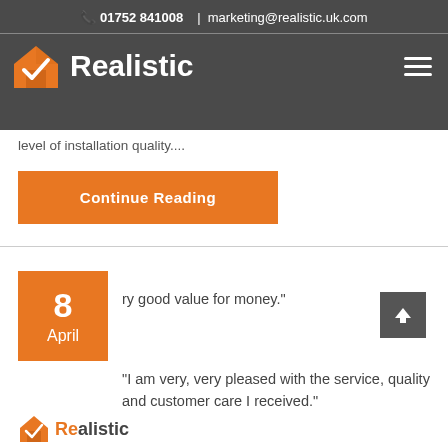01752 841008 | marketing@realistic.uk.com
[Figure (logo): Realistic logo with orange house and checkmark icon, white text 'Realistic' on dark grey background, hamburger menu icon top right]
level of installation quality....
Continue Reading
8 April
ry good value for money."
"I am very, very pleased with the service, quality and customer care I received."
[Figure (logo): Realistic partial logo at bottom left]